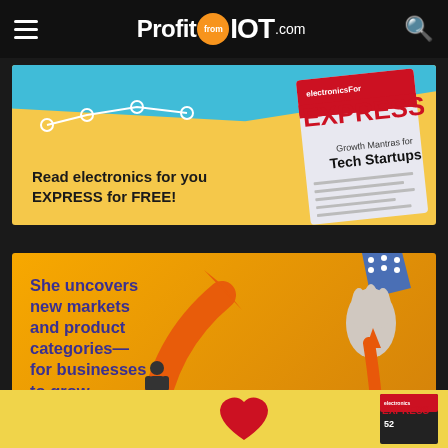ProfitfromIOT.com
[Figure (illustration): Advertisement banner for Electronics For You EXPRESS magazine - yellow and teal background with magazine cover and text 'Read electronics for you EXPRESS for FREE!']
Read electronics for you EXPRESS for FREE!
[Figure (illustration): Advertisement banner with yellow/orange background, hand holding arrow pointing up, silhouette figure, text 'She uncovers new markets and product categories—for businesses to grow.']
She uncovers new markets and product categories—for businesses to grow.
[Figure (illustration): Partial advertisement banner at bottom with yellow background showing a red heart and Electronics For You Express magazine]